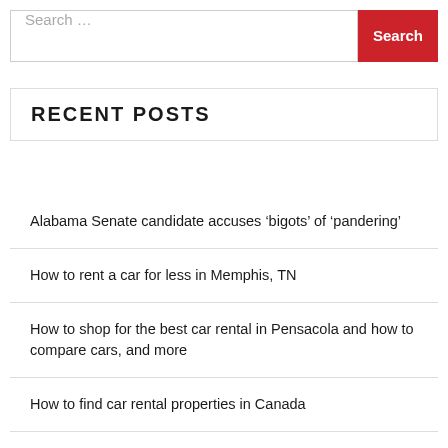Search …
RECENT POSTS
Alabama Senate candidate accuses 'bigots' of 'pandering'
How to rent a car for less in Memphis, TN
How to shop for the best car rental in Pensacola and how to compare cars, and more
How to find car rental properties in Canada
How to get an Airbnb in Sydney